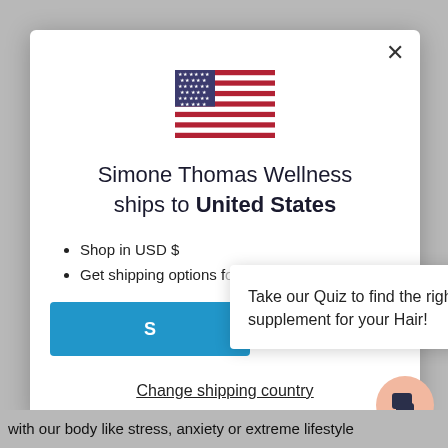[Figure (illustration): US flag emoji/icon centered in modal]
Simone Thomas Wellness ships to United States
Shop in USD $
Get shipping options for United States
S [Shop Now button, partially obscured]
Take our Quiz to find the right supplement for your Hair!
Change shipping country
with our body like stress, anxiety or extreme lifestyle